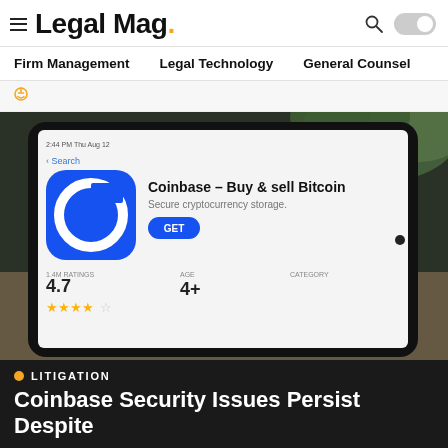Legal Mag.
Firm Management   Legal Technology   General Counsel
[Figure (photo): Tablet showing the Coinbase app on the App Store. The app icon is a blue rounded square with a white C logo. Text reads: Coinbase – Buy & sell Bitcoin, Secure cryptocurrency storage. Rating: 4.7, 1.4M Ratings, GET button, Age 4+, Category visible.]
LITIGATION
Coinbase Security Issues Persist Despite